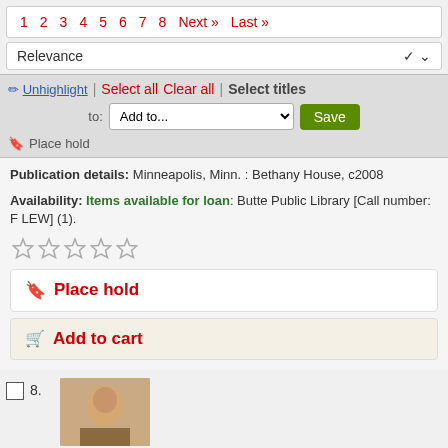1 2 3 4 5 6 7 8 Next » Last »
Relevance
✏ Unhighlight | Select all   Clear all  |  Select titles to: Add to...  Save
🔖 Place hold
Publication details: Minneapolis, Minn. : Bethany House, c2008
Availability: Items available for loan: Butte Public Library [Call number: F LEW] (1).
★★★★★ (stars rating)
🔖 Place hold
🛒 Add to cart
8.